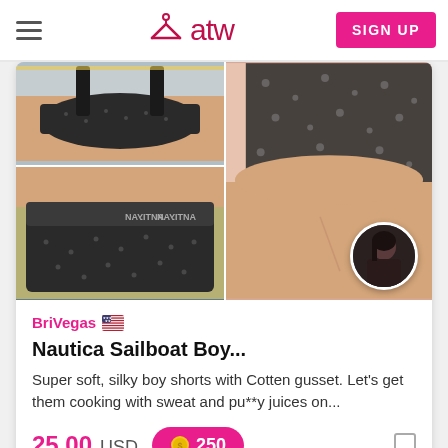atw — SIGN UP
[Figure (photo): Product listing images showing Nautica Sailboat boy shorts underwear from multiple angles, with a circular profile photo of the seller BriVegas in the corner]
BriVegas 🇺🇸
Nautica Sailboat Boy...
Super soft, silky boy shorts with Cotten gusset. Let's get them cooking with sweat and pu**y juices on...
25.00 USD   🪙 250